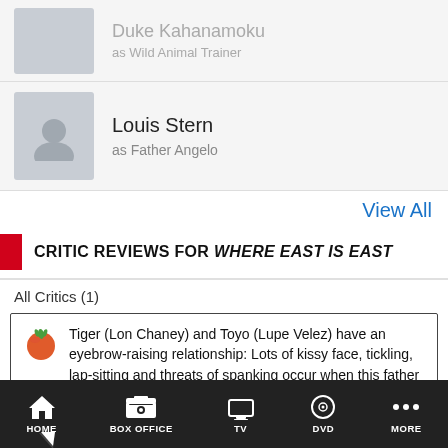Duke Kahanamoku
as Wild Animal Trainer
Louis Stern
as Father Angelo
View All
CRITIC REVIEWS FOR WHERE EAST IS EAST
All Critics (1)
Tiger (Lon Chaney) and Toyo (Lupe Velez) have an eyebrow-raising relationship: Lots of kissy face, tickling, lap-sitting and threats of spanking occur when this father and daughter are together.
June 27, 2012 | Rating: 3/4 | Full Review...
John Beifuss
Commercial Appeal (Memphis, TN)
HOME   BOX OFFICE   TV   DVD   MORE